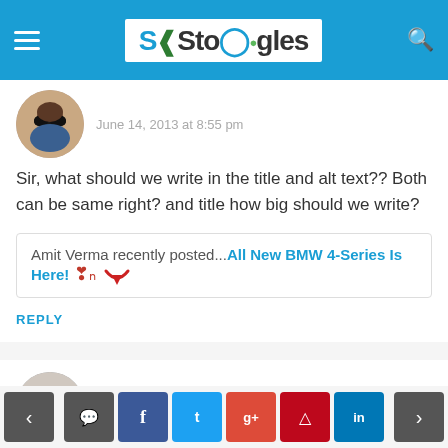Stoogles
June 14, 2013 at 8:55 pm
Sir, what should we write in the title and alt text?? Both can be same right? and title how big should we write?
Amit Verma recently posted...All New BMW 4-Series Is Here!
REPLY
Atish Ranjan
June 15, 2013 at 10:18 am